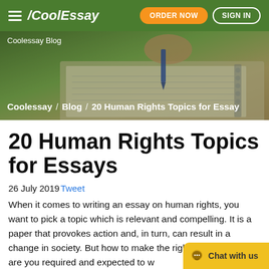CoolEssay — ORDER NOW   SIGN IN
[Figure (screenshot): Hero banner with a hand writing in a notebook, with green overlay. Contains breadcrumb navigation: Coolessay / Blog / 20 Human Rights Topics for Essays]
20 Human Rights Topics for Essays
26 July 2019 Tweet
When it comes to writing an essay on human rights, you want to pick a topic which is relevant and compelling. It is a paper that provokes action and, in turn, can result in a change in society. But how to make the right choice? What are you required and expected to write? Are there taboo topics? Calm down and read...